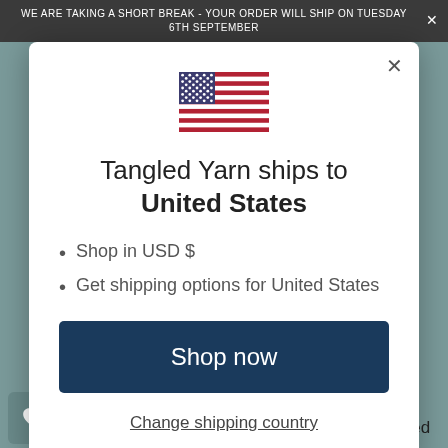WE ARE TAKING A SHORT BREAK - YOUR ORDER WILL SHIP ON TUESDAY 6TH SEPTEMBER
[Figure (illustration): US flag emoji/icon centered in modal]
Tangled Yarn ships to United States
Shop in USD $
Get shipping options for United States
Shop now
Change shipping country
lin Hunter's Oksa would be beautiful worked